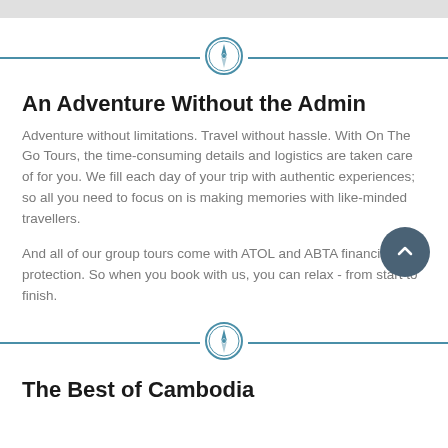[Figure (illustration): Compass icon inside a teal circle, centered on a horizontal teal divider line]
An Adventure Without the Admin
Adventure without limitations. Travel without hassle. With On The Go Tours, the time-consuming details and logistics are taken care of for you. We fill each day of your trip with authentic experiences; so all you need to focus on is making memories with like-minded travellers.
And all of our group tours come with ATOL and ABTA financial protection. So when you book with us, you can relax - from start to finish.
[Figure (illustration): Compass icon inside a teal circle, centered on a horizontal teal divider line, with a dark blue scroll-to-top button at the right]
The Best of Cambodia